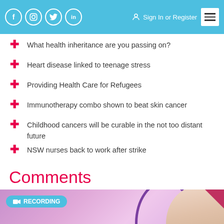Social icons: Facebook, Instagram, Twitter, LinkedIn | Sign In or Register | Menu
What health inheritance are you passing on?
Heart disease linked to teenage stress
Providing Health Care for Refugees
Immunotherapy combo shown to beat skin cancer
Childhood cancers will be curable in the not too distant future
NSW nurses back to work after strike
Comments
[Figure (photo): Recording banner with pink/purple gradient background, nurse photo, RECORDING badge in teal, and text EXHAUSTED TO EMPOWERED:]